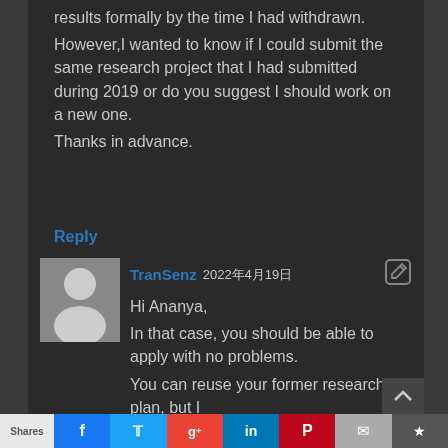results formally by the time I had withdrawn.
However,I wanted to know if I could submit the same research project that I had submitted during 2019 or do you suggest I should work on a new one.
Thanks in advance.
Reply
[Figure (illustration): Default user avatar placeholder - gray background with white silhouette of a person]
TranSenz 2022年4月19日
Hi Ananya,
In that case, you should be able to apply with no problems.
You can reuse your former research plan, but I
Shares  f  t  G+  in  P  mail  bookmark